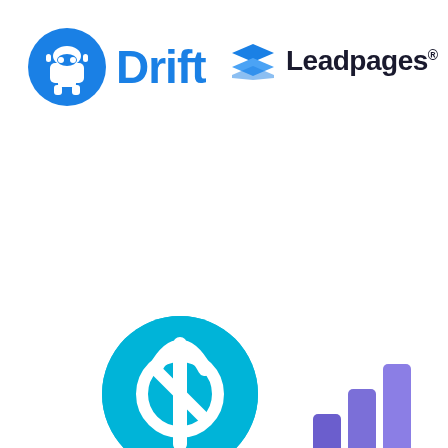[Figure (logo): Drift logo: blue circle with white robot/helmet icon, followed by bold blue text 'Drift']
[Figure (logo): Leadpages logo: blue stacked layers icon followed by dark text 'Leadpages' with registered trademark symbol]
[Figure (logo): Cyan/teal circle logo with white stylized lightning bolt or power symbol]
[Figure (logo): Purple/violet bar chart icon with ascending bars]